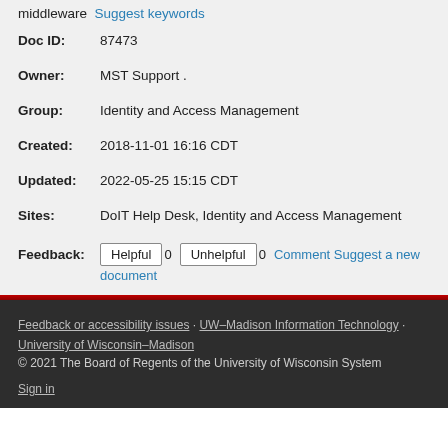middleware  Suggest keywords
Doc ID: 87473
Owner: MST Support .
Group: Identity and Access Management
Created: 2018-11-01 16:16 CDT
Updated: 2022-05-25 15:15 CDT
Sites: DoIT Help Desk, Identity and Access Management
Feedback: Helpful 0 Unhelpful 0 Comment Suggest a new document
Feedback or accessibility issues · UW–Madison Information Technology · University of Wisconsin–Madison
© 2021 The Board of Regents of the University of Wisconsin System
Sign in